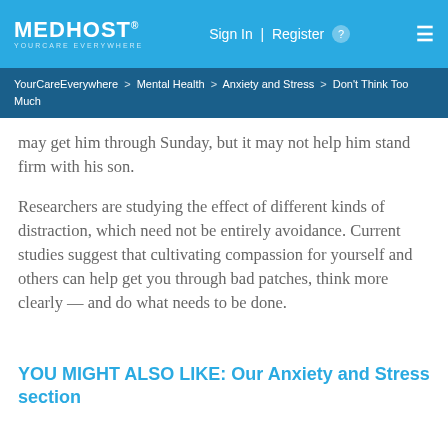MEDHOST YOUR CARE EVERYWHERE — Sign In | Register — menu
YourCareEverywhere > Mental Health > Anxiety and Stress > Don't Think Too Much
may get him through Sunday, but it may not help him stand firm with his son.
Researchers are studying the effect of different kinds of distraction, which need not be entirely avoidance. Current studies suggest that cultivating compassion for yourself and others can help get you through bad patches, think more clearly — and do what needs to be done.
YOU MIGHT ALSO LIKE: Our Anxiety and Stress section